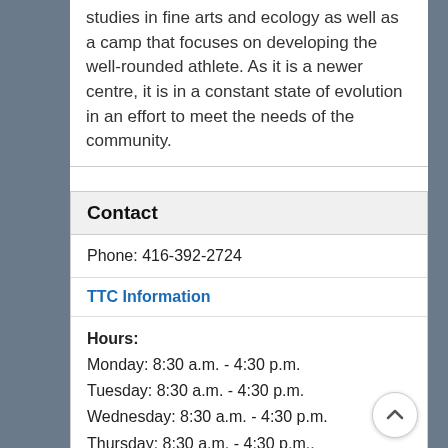studies in fine arts and ecology as well as a camp that focuses on developing the well-rounded athlete. As it is a newer centre, it is in a constant state of evolution in an effort to meet the needs of the community.
Contact
Phone: 416-392-2724
TTC Information
Hours:
Monday: 8:30 a.m. - 4:30 p.m.
Tuesday: 8:30 a.m. - 4:30 p.m.
Wednesday: 8:30 a.m. - 4:30 p.m.
Thursday: 8:30 a.m. - 4:30 p.m..
Friday: 8:30 a.m. - 4:30...